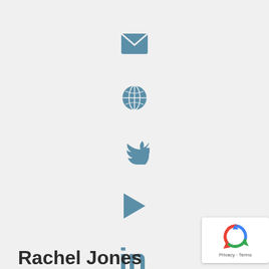[Figure (infographic): Vertical stack of social/contact icons: email envelope, globe/world, Twitter bird, play button triangle, LinkedIn 'in' — all in muted steel blue color]
Rachel Jones
[Figure (other): reCAPTCHA badge with spinning arrows logo and 'Privacy · Terms' text]